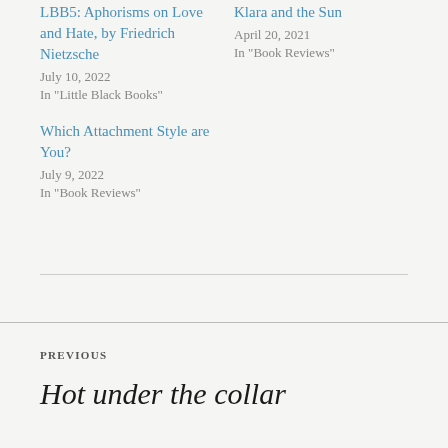LBB5: Aphorisms on Love and Hate, by Friedrich Nietzsche
July 10, 2022
In "Little Black Books"
Klara and the Sun
April 20, 2021
In "Book Reviews"
Which Attachment Style are You?
July 9, 2022
In "Book Reviews"
PREVIOUS
Hot under the collar